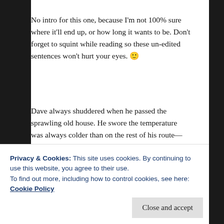No intro for this one, because I'm not 100% sure where it'll end up, or how long it wants to be. Don't forget to squint while reading so these un-edited sentences won't hurt your eyes. 🙂
Dave always shuddered when he passed the sprawling old house. He swore the temperature was always colder than on the rest of his route—even in the summer the sun never seemed to penetrate the mature trees and the shadow of that house. He would have preferred a different route entirely, but
Privacy & Cookies: This site uses cookies. By continuing to use this website, you agree to their use.
To find out more, including how to control cookies, see here:
Cookie Policy
Close and accept